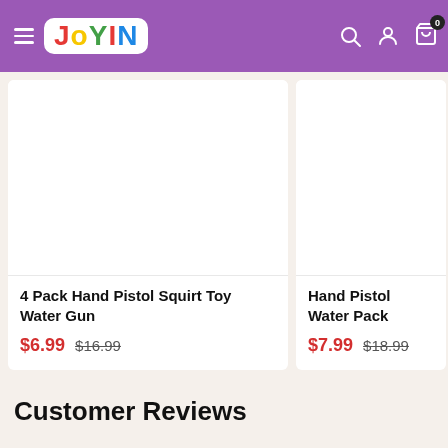[Figure (screenshot): Joyin website header with purple background, hamburger menu, Joyin logo, search icon, account icon, and cart icon with badge showing 0]
[Figure (photo): Product image area for 4 Pack Hand Pistol Squirt Toy Water Gun (white/empty)]
4 Pack Hand Pistol Squirt Toy Water Gun
$6.99  $16.99
[Figure (photo): Product image area for Hand Pistol Water Pack (white/empty, partially visible)]
Hand Pistol Water Pack
$7.99  $18.99
Customer Reviews